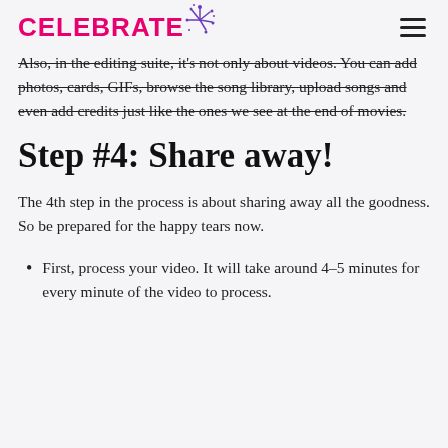CELEBRATE
Also, in the editing suite, it's not only about videos. You can add photos, cards, GIFs, browse the song library, upload songs and even add credits just like the ones we see at the end of movies.
Step #4: Share away!
The 4th step in the process is about sharing away all the goodness. So be prepared for the happy tears now.
First, process your video. It will take around 4–5 minutes for every minute of the video to process.